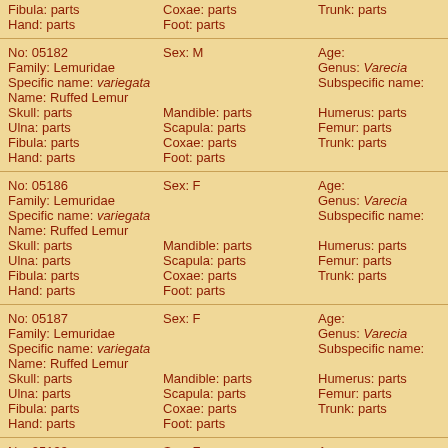Fibula: parts  Hand: parts  Coxae: parts  Foot: parts  Trunk: parts
No: 05182  Sex: M  Age:
Family: Lemuridae  Genus: Varecia
Specific name: variegata  Subspecific name:
Name: Ruffed Lemur
Skull: parts  Mandible: parts  Humerus: parts  Radius: parts
Ulna: parts  Scapula: parts  Femur: parts  Tibia: parts
Fibula: parts  Coxae: parts  Trunk: parts
Hand: parts  Foot: parts
No: 05186  Sex: F  Age:
Family: Lemuridae  Genus: Varecia
Specific name: variegata  Subspecific name:
Name: Ruffed Lemur
Skull: parts  Mandible: parts  Humerus: parts  Radius: parts
Ulna: parts  Scapula: parts  Femur: parts  Tibia: parts
Fibula: parts  Coxae: parts  Trunk: parts
Hand: parts  Foot: parts
No: 05187  Sex: F  Age:
Family: Lemuridae  Genus: Varecia
Specific name: variegata  Subspecific name:
Name: Ruffed Lemur
Skull: parts  Mandible: parts  Humerus: parts  Radius: parts
Ulna: parts  Scapula: parts  Femur: parts  Tibia: parts
Fibula: parts  Coxae: parts  Trunk: parts
Hand: parts  Foot: parts
No: 05199  Sex: F  Age: